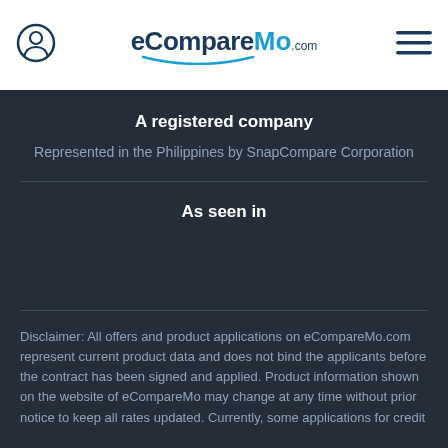eCompareMo.com
A registered company
Represented in the Philippines by SnapCompare Corporation
As seen in
Disclaimer: All offers and product applications on eCompareMo.com represent current product data and does not bind the applicants before the contract has been signed and applied. Product information shown on the website of eCompareMo may change at any time without prior notice to keep all rates updated. Currently, some applications for credit